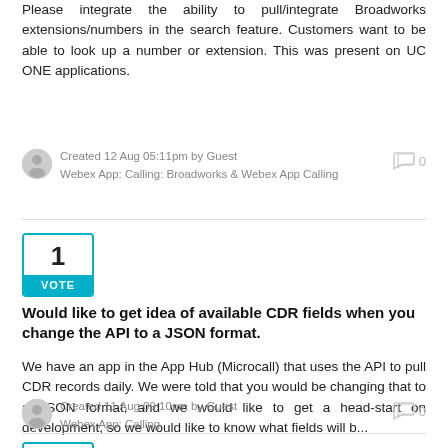Please integrate the ability to pull/integrate Broadworks extensions/numbers in the search feature. Customers want to be able to look up a number or extension. This was present on UC ONE applications.
Created 12 Aug 05:11pm by Guest
Webex App: Calling: Broadworks & Webex App Calling
0
[Figure (other): Vote box with number 1 and cyan VOTE button]
Would like to get idea of available CDR fields when you change the API to a JSON format.
We have an app in the App Hub (Microcall) that uses the API to pull CDR records daily. We were told that you would be changing that to a JSON format, and we would like to get a head-start on development, so we would like to know what fields will b...
Created 11 Aug 09:10pm by Guest
Webex App: Calling
0